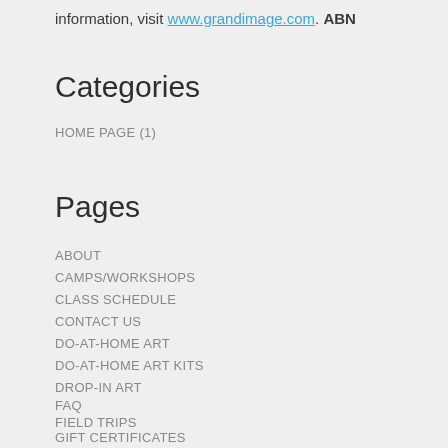information, visit www.grandimage.com. ABN
Categories
HOME PAGE (1)
Pages
ABOUT
CAMPS/WORKSHOPS
CLASS SCHEDULE
CONTACT US
DO-AT-HOME ART
DO-AT-HOME ART KITS
DROP-IN ART
FAQ
FIELD TRIPS
GIFT CERTIFICATES
IN THE NEWS